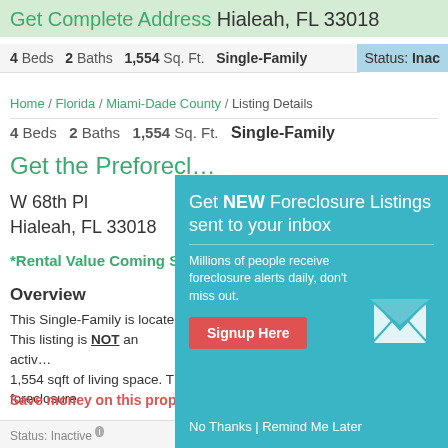Get Complete Address Hialeah, FL 33018
4 Beds  2 Baths  1,554 Sq. Ft.  Single-Family  Status: Inac...
Home / Florida / Miami-Dade County / Listing Details
4 Beds  2 Baths  1,554 Sq. Ft.  Single-Family
Get the Preforeclosure Address
W 68th Pl
Hialeah, FL 33018
*Rental Value Coming S...
Overview
This Single-Family is located... This listing is NOT an active... 1,554 sqft of living space. T... foreclosure
Save money on this property now.
[Figure (screenshot): Popup modal with teal background: Get NEW Foreclosure Listings sent to your inbox. Millions of people receive foreclosure alerts daily, don't miss out. Signup Here button (red). No Thanks | Remind Me Later links. White envelope icon.]
Status: Inactive  |  Listing ID: 56898759